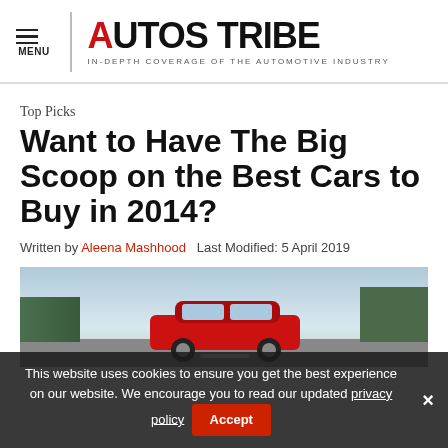AUTOS TRIBE — IN-DEPTH COVERAGE OF THE AUTOMOTIVE INDUSTRY
Top Picks
Want to Have The Big Scoop on the Best Cars to Buy in 2014?
Written by Aleena Mashhood   Last Modified: 5 April 2019
[Figure (photo): A red car driving on a road with trees in the background]
This website uses cookies to ensure you get the best experience on our website. We encourage you to read our updated privacy policy   Accept